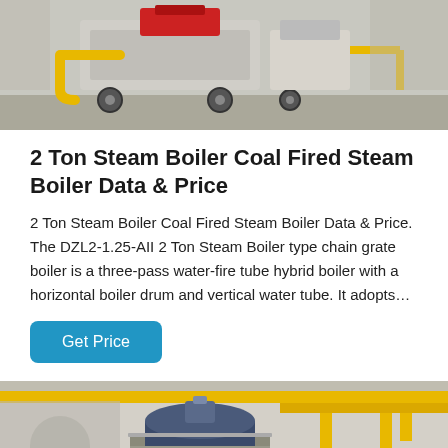[Figure (photo): Industrial boiler mounted on a wheeled cart with yellow and red pipes in a factory setting]
2 Ton Steam Boiler Coal Fired Steam Boiler Data & Price
2 Ton Steam Boiler Coal Fired Steam Boiler Data & Price. The DZL2-1.25-AII 2 Ton Steam Boiler type chain grate boiler is a three-pass water-fire tube hybrid boiler with a horizontal boiler drum and vertical water tube. It adopts…
Get Price
[Figure (photo): Large industrial steam boiler with yellow overhead pipes in a factory environment]